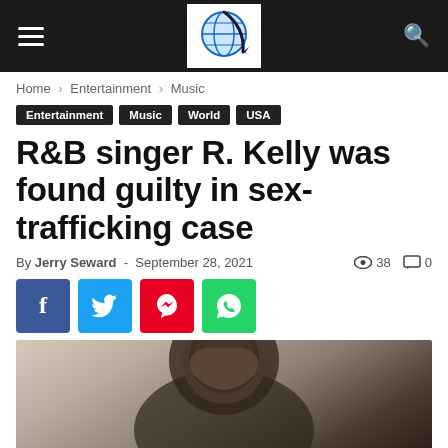Navigation header with logo, hamburger menu, and search icon
Home › Entertainment › Music
Entertainment  Music  World  USA
R&B singer R. Kelly was found guilty in sex-trafficking case
By Jerry Seward - September 28, 2021  👁 38  💬 0
[Figure (infographic): Social sharing buttons: Facebook (f), Twitter (bird), Pinterest (p), WhatsApp (phone)]
[Figure (photo): Close-up photo of a man with short hair, head slightly bowed, in muted/sepia tones]